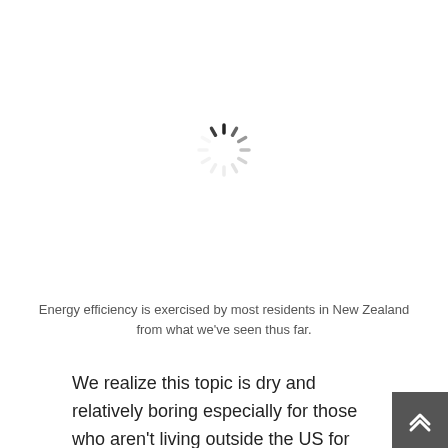[Figure (other): Loading spinner icon (animated spinner graphic) centered in the upper portion of the page]
Energy efficiency is exercised by most residents in New Zealand from what we've seen thus far.
We realize this topic is dry and relatively boring especially for those who aren't living outside the US for the long term.  For those in other countries, we can only suggest you contact your home insurance, your government provided